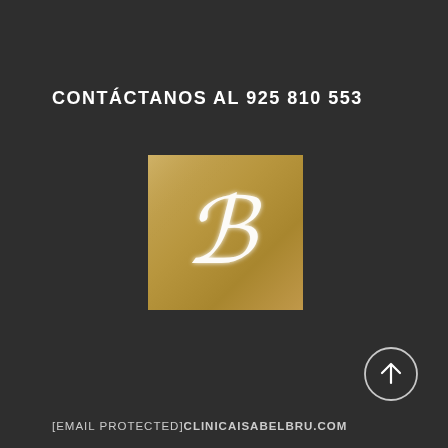CONTÁCTANOS AL 925 810 553
[Figure (logo): Gold/tan square with a stylized white cursive letter B logo]
[Figure (other): White circle with upward arrow icon (scroll to top button)]
[EMAIL PROTECTED]CLINICAISABELBRU.COM